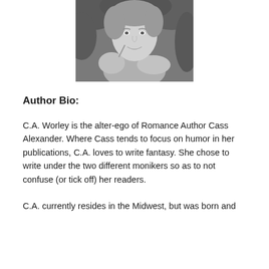[Figure (photo): Black and white author photo of a woman in a sleeveless top with arms crossed, smiling, outdoors with foliage in background]
Author Bio:
C.A. Worley is the alter-ego of Romance Author Cass Alexander. Where Cass tends to focus on humor in her publications, C.A. loves to write fantasy. She chose to write under the two different monikers so as to not confuse (or tick off) her readers.
C.A. currently resides in the Midwest, but was born and